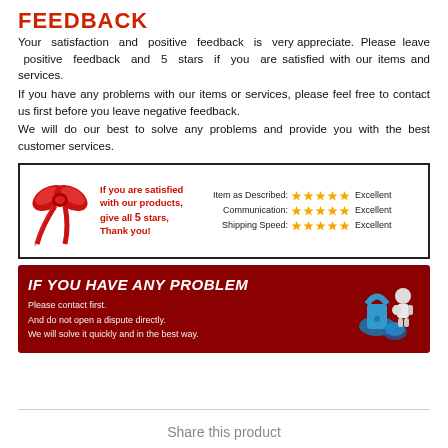FEEDBACK
Your satisfaction and positive feedback is very appreciate. Please leave positive feedback and 5 stars if you are satisfied with our items and services.
If you have any problems with our items or services, please feel free to contact us first before you leave negative feedback.
We will do our best to solve any problems and provide you with the best customer services.
[Figure (infographic): Rating graphic with a red bow on the left, text 'If you are satisfied with our products, give all 5 stars, Thank you!' in red, and three rating rows: Item as Described 5 stars Excellent, Communication 5 stars Excellent, Shipping Speed 5 stars Excellent.]
[Figure (infographic): Dark red banner with white text 'IF YOU HAVE ANY PROBLEM', subtext 'Please contact first. And do not open a dispute directly. We will solve it quickly and in the best way.' with a 3D figure looking at a question mark on the right.]
Share this product